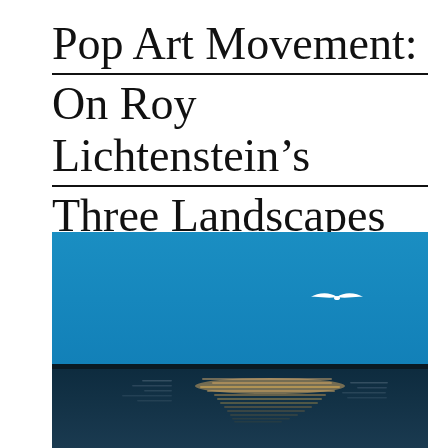Pop Art Movement: On Roy Lichtenstein's Three Landscapes
[Figure (photo): Photograph of a seascape with a bright blue sky in the upper portion and dark ocean water with shimmering light reflections in the lower portion. A white seagull silhouette flies in the upper right area of the sky.]